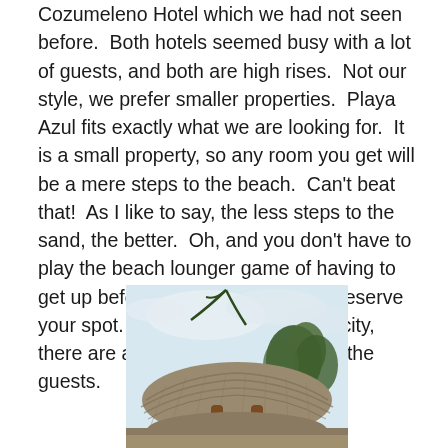Cozumeleno Hotel which we had not seen before.  Both hotels seemed busy with a lot of guests, and both are high rises.  Not our style, we prefer smaller properties.  Playa Azul fits exactly what we are looking for.  It is a small property, so any room you get will be a mere steps to the beach.  Can't beat that!  As I like to say, the less steps to the sand, the better.  Oh, and you don't have to play the beach lounger game of having to get up before the crack of dawn to reserve your spot.  Even at almost full capacity, there are ample beach loungers for the guests.
[Figure (photo): A palapa / thatched roof structure with wooden support beams, palm trees and tropical vegetation in the background, cloudy sky.]